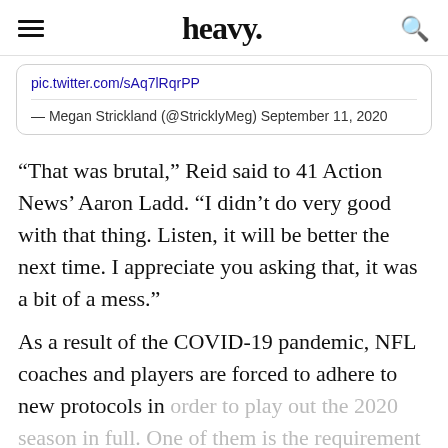heavy.
pic.twitter.com/sAq7lRqrPP
— Megan Strickland (@StricklyMeg) September 11, 2020
“That was brutal,” Reid said to 41 Action News’ Aaron Ladd. “I didn’t do very good with that thing. Listen, it will be better the next time. I appreciate you asking that, it was a bit of a mess.”
As a result of the COVID-19 pandemic, NFL coaches and players are forced to adhere to new protocols in order to play out the 2020 season in full. One of them is the requirement for coaches and staff to